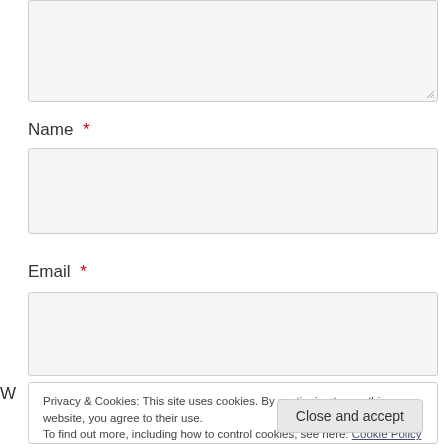[Figure (screenshot): Textarea input box (partially visible at top), empty with resize handle at bottom right]
Name *
[Figure (screenshot): Name input field, empty text box with light gray background]
Email *
[Figure (screenshot): Email input field, empty text box with light gray background]
Privacy & Cookies: This site uses cookies. By continuing to use this website, you agree to their use.
To find out more, including how to control cookies, see here: Cookie Policy
Close and accept